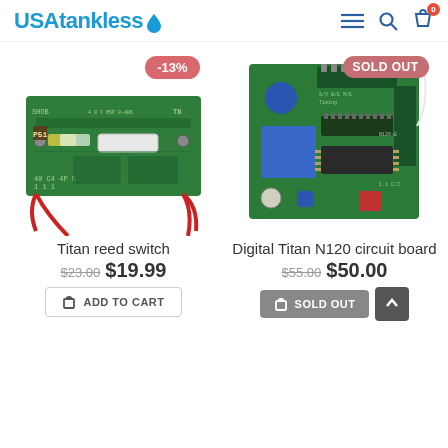USAtankless [logo with water drop icon, menu icon, search icon, cart icon with badge 0]
[Figure (photo): Titan reed switch - a green circuit board with two red wires attached, showing a small sensor component. Has a -13% discount badge in pink/red.]
Titan reed switch
$23.00 $19.99
ADD TO CART
[Figure (photo): Digital Titan N120 circuit board - a green PCB with blue capacitors, red component, IC chips, connectors. Has a SOLD OUT badge in pink/red.]
Digital Titan N120 circuit board
$55.00 $50.00
SOLD OUT